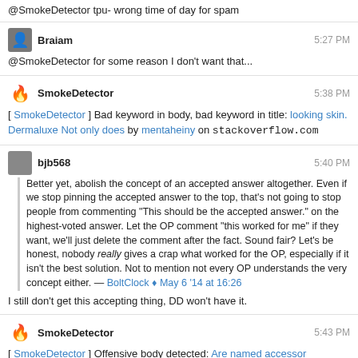@SmokeDetector tpu- wrong time of day for spam
Braiam  5:27 PM
@SmokeDetector for some reason I don't want that...
SmokeDetector  5:38 PM
[ SmokeDetector ] Bad keyword in body, bad keyword in title: looking skin. Dermaluxe Not only does by mentaheiny on stackoverflow.com
bjb568  5:40 PM
Better yet, abolish the concept of an accepted answer altogether. Even if we stop pinning the accepted answer to the top, that's not going to stop people from commenting "This should be the accepted answer." on the highest-voted answer. Let the OP comment "this worked for me" if they want, we'll just delete the comment after the fact. Sound fair? Let's be honest, nobody really gives a crap what worked for the OP, especially if it isn't the best solution. Not to mention not every OP understands the very concept either. — BoltClock ♦ May 6 '14 at 16:26
I still don't get this accepting thing, DD won't have it.
SmokeDetector  5:43 PM
[ SmokeDetector ] Offensive body detected: Are named accessor properties only just about getters and setters by user3629623 on stackoverflow.com
user259867  5:59 PM
There are issues that nobody with 15 rep on the site has... which does not mean nobody in the world has them. In such cases letting the OP designate an answer makes sense.
Lynn Crumbling  5:59 PM
@bjb568 We've got a cameo of you in our product video :)